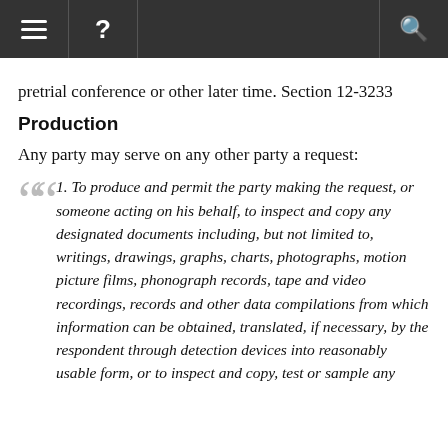≡  ?  🔍
pretrial conference or other later time. Section 12-3233
Production
Any party may serve on any other party a request:
1. To produce and permit the party making the request, or someone acting on his behalf, to inspect and copy any designated documents including, but not limited to, writings, drawings, graphs, charts, photographs, motion picture films, phonograph records, tape and video recordings, records and other data compilations from which information can be obtained, translated, if necessary, by the respondent through detection devices into reasonably usable form, or to inspect and copy, test or sample any